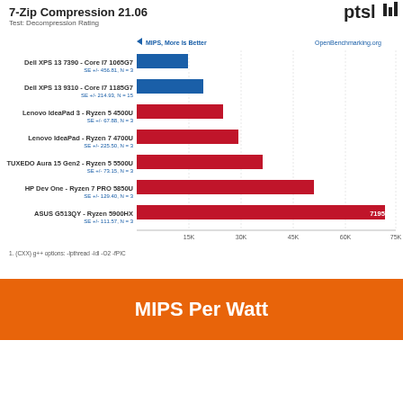7-Zip Compression 21.06
Test: Decompression Rating
[Figure (bar-chart): 7-Zip Compression 21.06 - MIPS, More Is Better]
1. (CXX) g++ options: -lpthread -ldl -O2 -fPIC
MIPS Per Watt
7-Zip Compression 21.06
Test: Decompression Rating
MIPS Per Watt, More Is Better
OpenBenchmarking.org